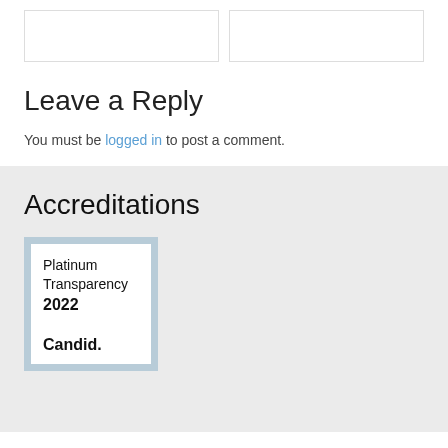[Figure (other): Two placeholder white boxes with light borders at the top of the page]
Leave a Reply
You must be logged in to post a comment.
Accreditations
[Figure (illustration): Candid Platinum Transparency 2022 badge — white box with light blue border and outer frame, text reads: Platinum Transparency 2022, Candid.]